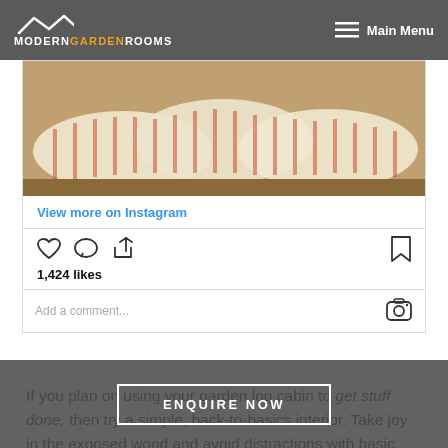MODERN GARDEN ROOMS — Main Menu
[Figure (photo): Photo of cushioned seating inside a garden log cabin with striped fabric cushions and wooden floor]
View more on Instagram
1,424 likes
Add a comment...
If you plan on using your garden log cabin to get stuff done, then try a simple, back-to-basics interior. Take joy in the exposed wood and avoid distractions with basic, rustic furniture.
ENQUIRE NOW